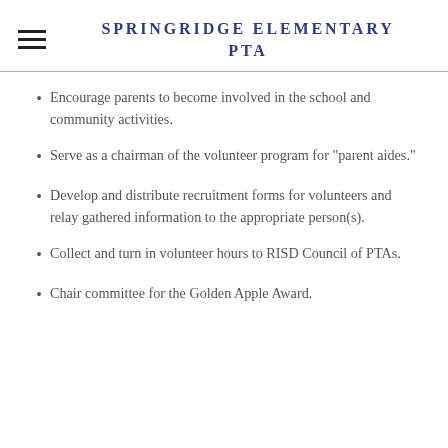SPRINGRIDGE ELEMENTARY PTA
Encourage parents to become involved in the school and community activities.
Serve as a chairman of the volunteer program for "parent aides."
Develop and distribute recruitment forms for volunteers and relay gathered information to the appropriate person(s).
Collect and turn in volunteer hours to RISD Council of PTAs.
Chair committee for the Golden Apple Award.